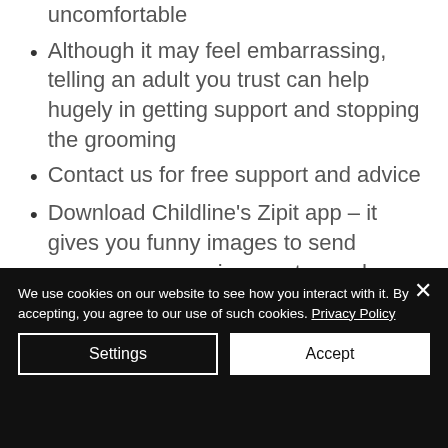uncomfortable
Although it may feel embarrassing, telling an adult you trust can help hugely in getting support and stopping the grooming
Contact us for free support and advice
Download Childline's Zipit app – it gives you funny images to send someone pressuring you to send something sexual
We use cookies on our website to see how you interact with it. By accepting, you agree to our use of such cookies. Privacy Policy
Settings
Accept